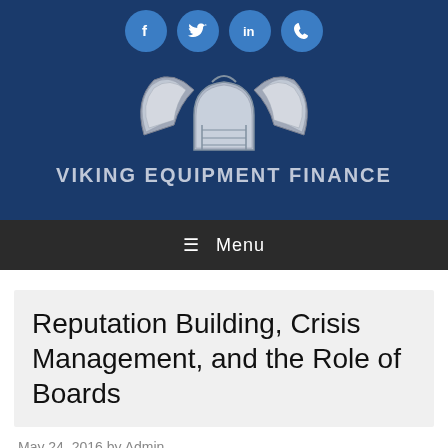[Figure (logo): Viking Equipment Finance logo with winged helmet and social media icons (Facebook, Twitter, LinkedIn, Phone) on dark blue background]
Menu
Reputation Building, Crisis Management, and the Role of Boards
May 24, 2016 by Admin